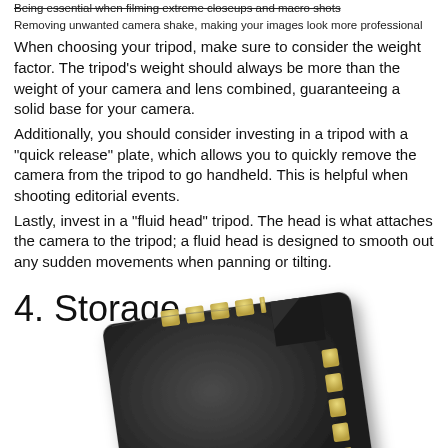Being essential when filming extreme closeups and macro shots
Removing unwanted camera shake, making your images look more professional
When choosing your tripod, make sure to consider the weight factor. The tripod’s weight should always be more than the weight of your camera and lens combined, guaranteeing a solid base for your camera.
Additionally, you should consider investing in a tripod with a “quick release” plate, which allows you to quickly remove the camera from the tripod to go handheld. This is helpful when shooting editorial events.
Lastly, invest in a “fluid head” tripod. The head is what attaches the camera to the tripod; a fluid head is designed to smooth out any sudden movements when panning or tilting.
4. Storage
[Figure (photo): A microSD memory card, dark gray/black body with golden contacts visible on the top edge and right side, photographed against a white background.]